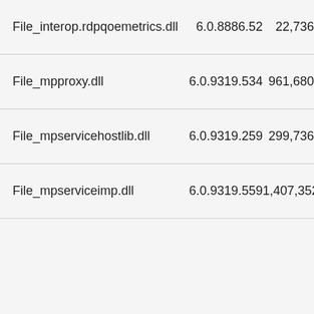| File_interop.rdpqoemetrics.dll | 6.0.8886.52 | 22,736 |
| File_mpproxy.dll | 6.0.9319.534 | 961,680 |
| File_mpservicehostlib.dll | 6.0.9319.259 | 299,736 |
| File_mpserviceimp.dll | 6.0.9319.559 | 1,407,352 |